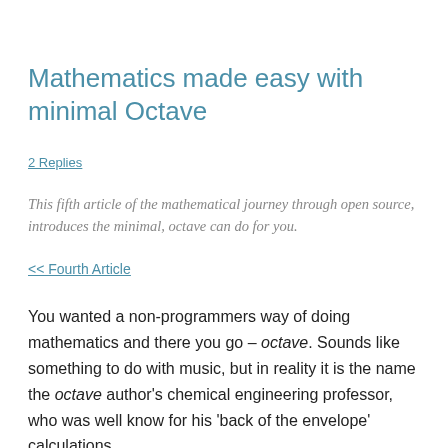Mathematics made easy with minimal Octave
2 Replies
This fifth article of the mathematical journey through open source, introduces the minimal, octave can do for you.
<< Fourth Article
You wanted a non-programmers way of doing mathematics and there you go – octave. Sounds like something to do with music, but in reality it is the name the octave author's chemical engineering professor, who was well know for his 'back of the envelope' calculations.